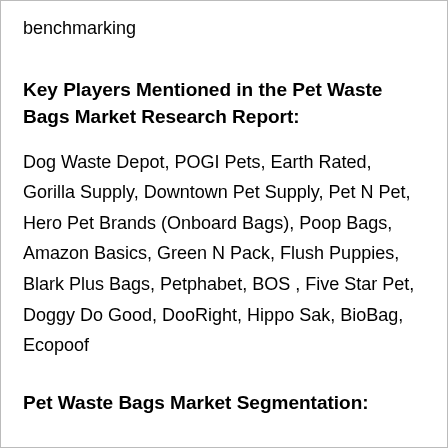benchmarking
Key Players Mentioned in the Pet Waste Bags Market Research Report:
Dog Waste Depot, POGI Pets, Earth Rated, Gorilla Supply, Downtown Pet Supply, Pet N Pet, Hero Pet Brands (Onboard Bags), Poop Bags, Amazon Basics, Green N Pack, Flush Puppies, Blark Plus Bags, Petphabet, BOS , Five Star Pet, Doggy Do Good, DooRight, Hippo Sak, BioBag, Ecopoof
Pet Waste Bags Market Segmentation: